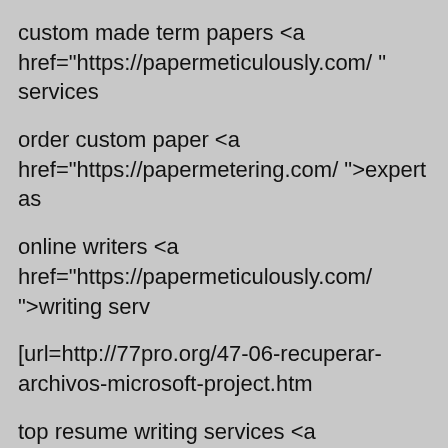custom made term papers <a href="https://papermeticulously.com/ " services
order custom paper <a href="https://papermetering.com/ ">expert as
online writers <a href="https://papermeticulously.com/ ">writing serv
[url=http://77pro.org/47-06-recuperar-archivos-microsoft-project.htm
top resume writing services <a href="https://papermetering.com/ ">w
I'm not sure why but this blog is loading incredibly slow for me. Is an I'll check back later and seee if the prkblem still exists. \xec\x98\xa8\xeb\x9d\xbc\xec\x9d\xb8\xec\xb9\xb4\xec\xa7\x80\xeb
Good job on the new site! Now go ahead and submit it to our free di
BR Projects. We from Ukraine. No War! https://project-br.com/ Gadg receive gadgets engraved with your name. All gadgets unisex
thesis statement about social media <a href="https://thesismethyl.co thesis
Sports betting. Bonus to the first deposit up to 500 euros. sports bet